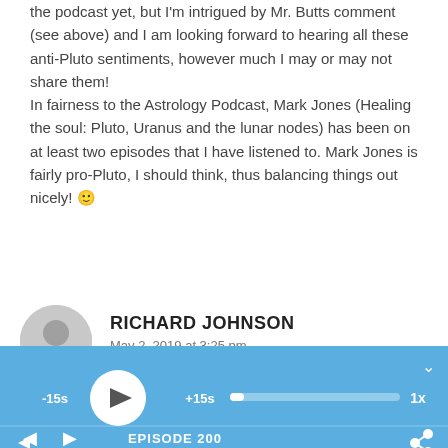the podcast yet, but I'm intrigued by Mr. Butts comment (see above) and I am looking forward to hearing all these anti-Pluto sentiments, however much I may or may not share them!
In fairness to the Astrology Podcast, Mark Jones (Healing the soul: Pluto, Uranus and the lunar nodes) has been on at least two episodes that I have listened to. Mark Jones is fairly pro-Pluto, I should think, thus balancing things out nicely! 🙂
RICHARD JOHNSON
May 2, 2019 at 3:25 pm
[Figure (screenshot): Audio podcast player with blue background showing play button, -15s/+15s skip buttons, progress bar, 1x speed, and EPISODE 200 label]